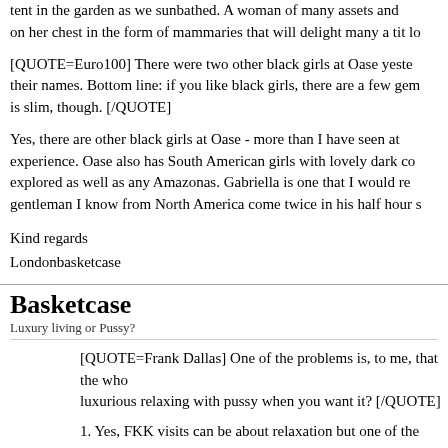tent in the garden as we sunbathed. A woman of many assets and on her chest in the form of mammaries that will delight many a tit lo
[QUOTE=Euro100] There were two other black girls at Oase yeste their names. Bottom line: if you like black girls, there are a few gem is slim, though. [/QUOTE]
Yes, there are other black girls at Oase - more than I have seen at experience. Oase also has South American girls with lovely dark co explored as well as any Amazonas. Gabriella is one that I would re gentleman I know from North America come twice in his half hour s
Kind regards
Londonbasketcase
Basketcase
Luxury living or Pussy?
[QUOTE=Frank Dallas] One of the problems is, to me, that the who luxurious relaxing with pussy when you want it? [/QUOTE]
1. Yes, FKK visits can be about relaxation but one of the intentions of intense activity where you penis is sucked by a warm, wet, willin can insert your hard and erect penis into a moist, confining and se